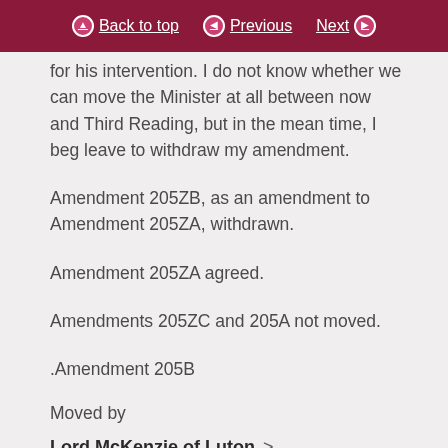Back to top | Previous | Next
for his intervention. I do not know whether we can move the Minister at all between now and Third Reading, but in the mean time, I beg leave to withdraw my amendment.
Amendment 205ZB, as an amendment to Amendment 205ZA, withdrawn.
Amendment 205ZA agreed.
Amendments 205ZC and 205A not moved.
.Amendment 205B
Moved by
Lord McKenzie of Luton